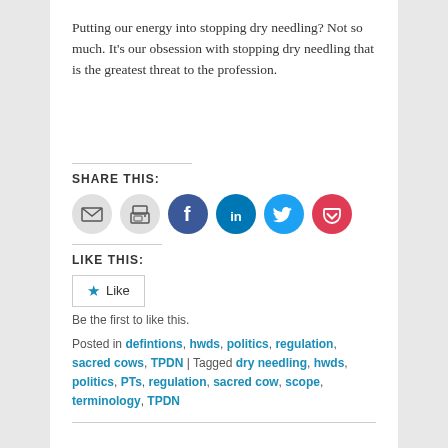Putting our energy into stopping dry needling? Not so much. It's our obsession with stopping dry needling that is the greatest threat to the profession.
SHARE THIS:
[Figure (infographic): Six circular social share buttons: email (grey), print (grey), Facebook (blue), LinkedIn (dark blue), Twitter (cyan), Pocket (red)]
LIKE THIS:
[Figure (infographic): Like button with star icon]
Be the first to like this.
Posted in defintions, hwds, politics, regulation, sacred cows, TPDN | Tagged dry needling, hwds, politics, PTs, regulation, sacred cow, scope, terminology, TPDN